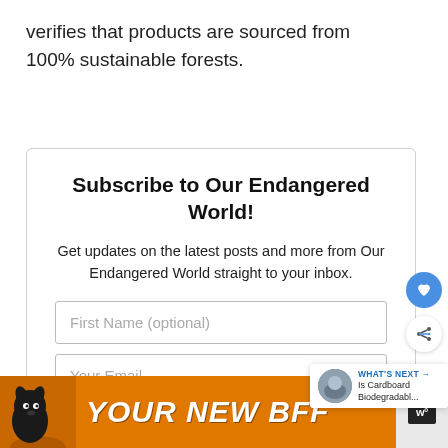verifies that products are sourced from 100% sustainable forests.
Subscribe to Our Endangered World!
Get updates on the latest posts and more from Our Endangered World straight to your inbox.
[Figure (screenshot): Email subscription form with First Name (optional) and Your Email fields and a SUBSCRIBE button]
[Figure (infographic): Ad banner: YOUR NEW BFF with dog image on orange background]